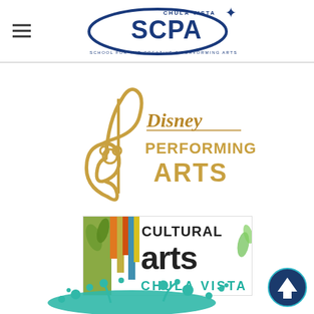[Figure (logo): Chula Vista SCPA – School for the Creative & Performing Arts logo with blue ellipse and text]
[Figure (logo): Disney Performing Arts logo – gold treble clef with Mickey Mouse ears and gold/orange text]
[Figure (logo): Cultural Arts Chula Vista logo – colorful arts text with decorative leaves and teal CHULA VISTA text]
[Figure (illustration): Teal paint splash / splatter graphic at bottom center]
[Figure (illustration): Circular scroll-to-top button with up arrow, dark navy/teal background]